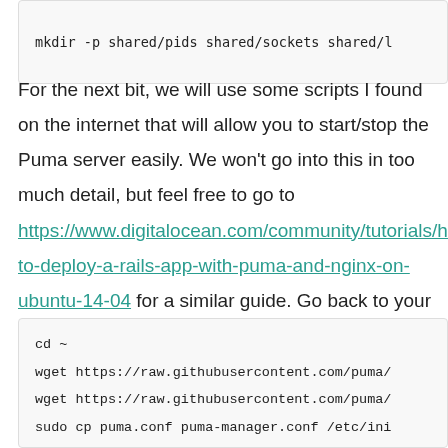mkdir -p shared/pids shared/sockets shared/l
For the next bit, we will use some scripts I found on the internet that will allow you to start/stop the Puma server easily. We won't go into this in too much detail, but feel free to go to https://www.digitalocean.com/community/tutorials/how-to-deploy-a-rails-app-with-puma-and-nginx-on-ubuntu-14-04 for a similar guide. Go back to your home directory and download the scripts by running this:
cd ~
wget https://raw.githubusercontent.com/puma/
wget https://raw.githubusercontent.com/puma/
sudo cp puma.conf puma-manager.conf /etc/ini